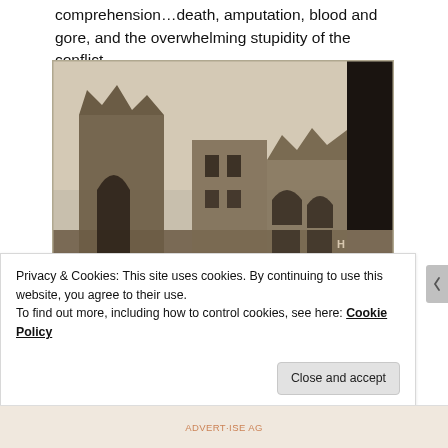comprehension…death, amputation, blood and gore, and the overwhelming stupidity of the conflict.
[Figure (photo): Sepia photograph of ruined cathedral or abbey buildings with rubble and snow/debris on the ground, partially destroyed Gothic arches and tower visible]
Privacy & Cookies: This site uses cookies. By continuing to use this website, you agree to their use.
To find out more, including how to control cookies, see here: Cookie Policy
Close and accept